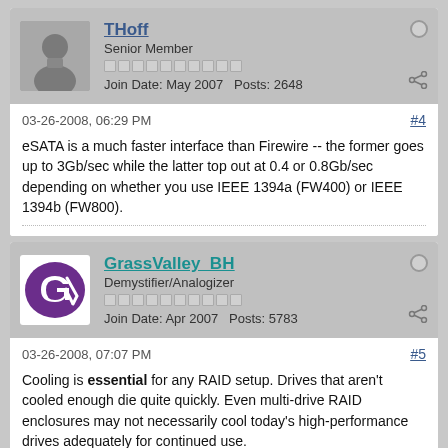THoff
Senior Member
Join Date: May 2007   Posts: 2648
03-26-2008, 06:29 PM
#4
eSATA is a much faster interface than Firewire -- the former goes up to 3Gb/sec while the latter top out at 0.4 or 0.8Gb/sec depending on whether you use IEEE 1394a (FW400) or IEEE 1394b (FW800).
GrassValley_BH
Demystifier/Analogizer
Join Date: Apr 2007   Posts: 5783
03-26-2008, 07:07 PM
#5
Cooling is essential for any RAID setup. Drives that aren't cooled enough die quite quickly. Even multi-drive RAID enclosures may not necessarily cool today's high-performance drives adequately for continued use.